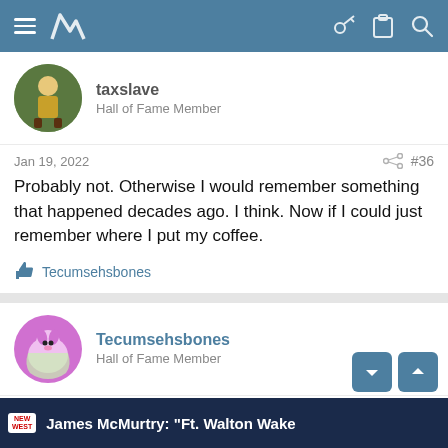Navigation bar with menu, logo, key, clipboard, and search icons
taxslave
Hall of Fame Member
Jan 19, 2022  #36
Probably not. Otherwise I would remember something that happened decades ago. I think. Now if I could just remember where I put my coffee.
Tecumsehsbones
Tecumsehsbones
Hall of Fame Member
Jan 19, 2022  #37
Ugh. Yeah.
[Figure (screenshot): Bottom strip showing New West badge and partial text 'James McMurtry: "Ft. Walton Wake...']